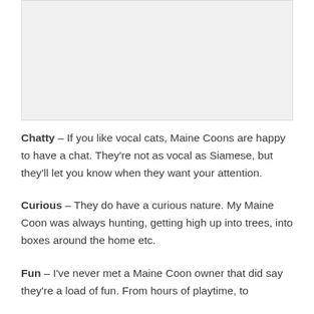[Figure (photo): Placeholder image area at top of page]
Chatty – If you like vocal cats, Maine Coons are happy to have a chat. They're not as vocal as Siamese, but they'll let you know when they want your attention.
Curious – They do have a curious nature. My Maine Coon was always hunting, getting high up into trees, into boxes around the home etc.
Fun – I've never met a Maine Coon owner that did say they're a load of fun. From hours of playtime, to